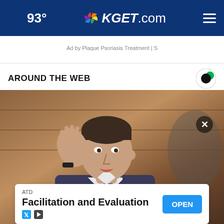🌙 93° KGET.com ≡
Ad by Plaque Psoriasis Treatment | S
AROUND THE WEB
[Figure (photo): Man in suit speaking at a hearing, gesturing with his right hand, with a microphone in front of him. Dark wood paneling in background.]
ATD
Facilitation and Evaluation
OPEN